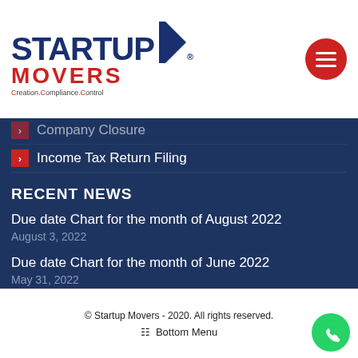[Figure (logo): Startup Movers logo with red hamburger menu button]
Company Closure
Income Tax Return Filing
RECENT NEWS
Due date Chart for the month of August 2022
August 3, 2022
Due date Chart for the month of June 2022
May 31, 2022
Company Strike Off
May 24, 2022
© Startup Movers - 2020. All rights reserved. Bottom Menu